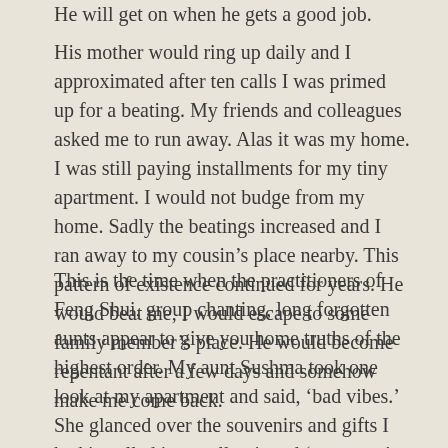He will get on when he gets a good job.
His mother would ring up daily and I approximated after ten calls I was primed up for a beating. My friends and colleagues asked me to run away. Alas it was my home. I was still paying installments for my tiny apartment. I would not budge from my home. Sadly the beatings increased and I ran away to my cousin's place nearby. This pattern of existence continued for years. He would beat me, I would escape to some family member's place. He would become repentant after a few days and somehow make me come back.
This is the time when the practitioners of Feng Shui, group chanting, long forgotten aunts appear to give you home truths of the highest order. My aunt Sushma took one look at my apartment and said, ‘bad vibes.’ She glanced over the souvenirs and gifts I had installed in a wall unit and ‘tut tut tut’ she went.